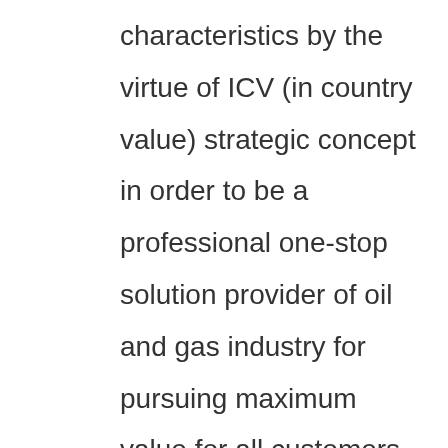characteristics by the virtue of ICV (in country value) strategic concept in order to be a professional one-stop solution provider of oil and gas industry for pursuing maximum value for all customers and partners. INTLEF is devoting herself to providing intelligent product and excellent service for global oil and gas industry.
INTLEF people with virtues of enthusiastic,